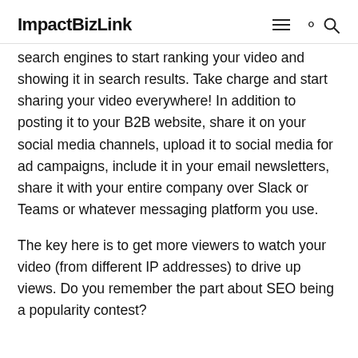ImpactBizLink
search engines to start ranking your video and showing it in search results. Take charge and start sharing your video everywhere! In addition to posting it to your B2B website, share it on your social media channels, upload it to social media for ad campaigns, include it in your email newsletters, share it with your entire company over Slack or Teams or whatever messaging platform you use.
The key here is to get more viewers to watch your video (from different IP addresses) to drive up views. Do you remember the part about SEO being a popularity contest?